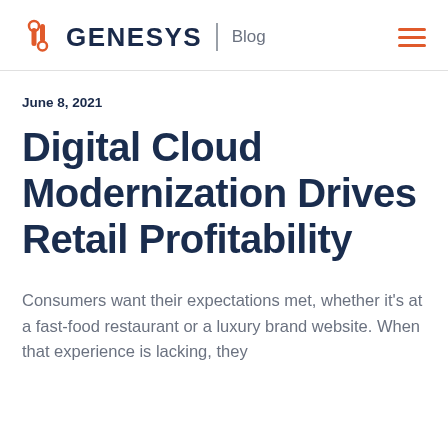GENESYS | Blog
June 8, 2021
Digital Cloud Modernization Drives Retail Profitability
Consumers want their expectations met, whether it's at a fast-food restaurant or a luxury brand website. When that experience is lacking, they